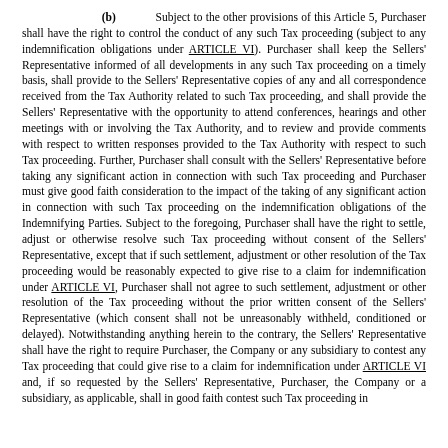(b) Subject to the other provisions of this Article 5, Purchaser shall have the right to control the conduct of any such Tax proceeding (subject to any indemnification obligations under ARTICLE VI). Purchaser shall keep the Sellers' Representative informed of all developments in any such Tax proceeding on a timely basis, shall provide to the Sellers' Representative copies of any and all correspondence received from the Tax Authority related to such Tax proceeding, and shall provide the Sellers' Representative with the opportunity to attend conferences, hearings and other meetings with or involving the Tax Authority, and to review and provide comments with respect to written responses provided to the Tax Authority with respect to such Tax proceeding. Further, Purchaser shall consult with the Sellers' Representative before taking any significant action in connection with such Tax proceeding and Purchaser must give good faith consideration to the impact of the taking of any significant action in connection with such Tax proceeding on the indemnification obligations of the Indemnifying Parties. Subject to the foregoing, Purchaser shall have the right to settle, adjust or otherwise resolve such Tax proceeding without consent of the Sellers' Representative, except that if such settlement, adjustment or other resolution of the Tax proceeding would be reasonably expected to give rise to a claim for indemnification under ARTICLE VI, Purchaser shall not agree to such settlement, adjustment or other resolution of the Tax proceeding without the prior written consent of the Sellers' Representative (which consent shall not be unreasonably withheld, conditioned or delayed). Notwithstanding anything herein to the contrary, the Sellers' Representative shall have the right to require Purchaser, the Company or any subsidiary to contest any Tax proceeding that could give rise to a claim for indemnification under ARTICLE VI and, if so requested by the Sellers' Representative, Purchaser, the Company or a subsidiary, as applicable, shall in good faith contest such Tax proceeding in